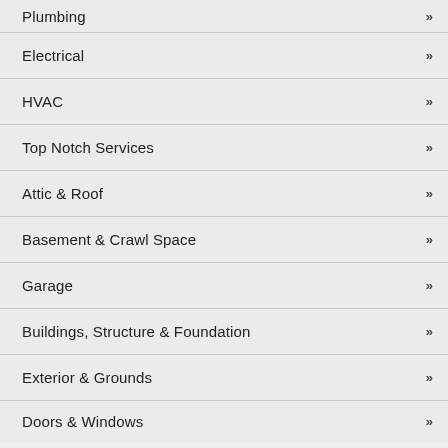Plumbing
Electrical
HVAC
Top Notch Services
Attic & Roof
Basement & Crawl Space
Garage
Buildings, Structure & Foundation
Exterior & Grounds
Doors & Windows